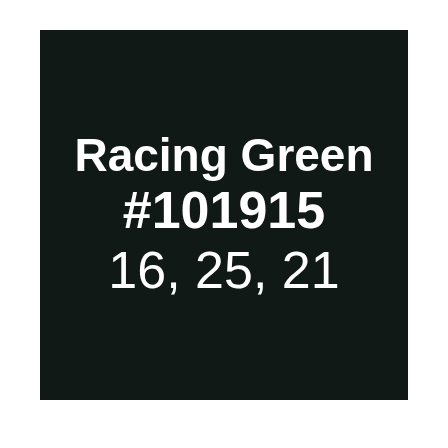Racing Green
#101915
16, 25, 21